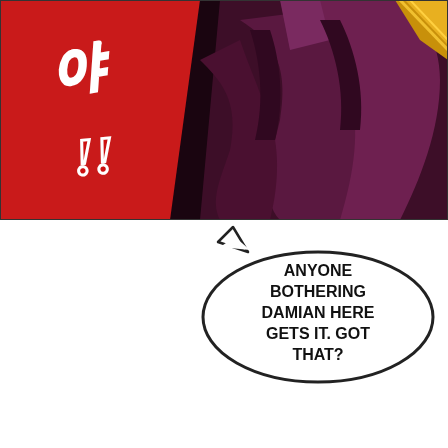[Figure (illustration): Manga panel showing a dark-clothed figure in purple/dark red robes with dramatic angles. Red background with stylized Korean sound effect characters in red on the left side. A golden/yellow glowing object is visible in the upper right.]
ANYONE BOTHERING DAMIAN HERE GETS IT. GOT THAT?